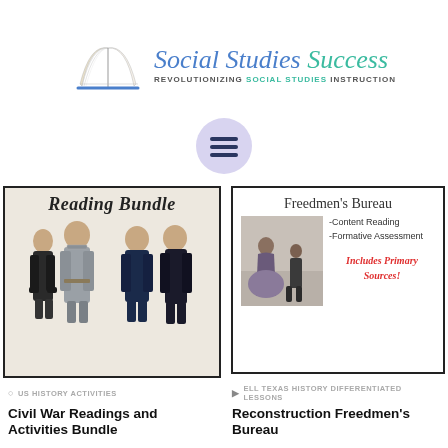[Figure (logo): Social Studies Success logo with open book illustration and text 'REVOLUTIONIZING SOCIAL STUDIES INSTRUCTION']
[Figure (illustration): Hamburger menu icon (three horizontal lines) inside a light purple circle]
[Figure (illustration): Left product thumbnail: Civil War era figures standing together, text 'Reading Bundle' at top]
[Figure (illustration): Right product thumbnail: Freedmen's Bureau - content reading, formative assessment, includes primary sources]
US HISTORY ACTIVITIES
ELL TEXAS HISTORY DIFFERENTIATED LESSONS
Civil War Readings and Activities Bundle
Reconstruction Freedmen's Bureau